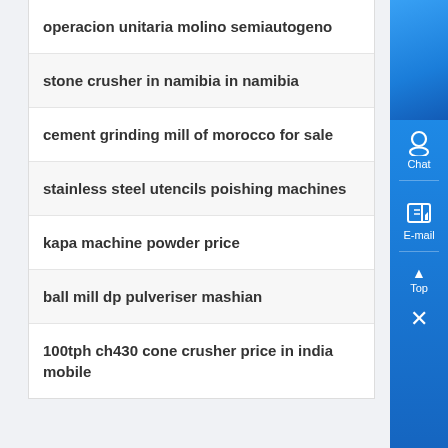operacion unitaria molino semiautogeno
stone crusher in namibia in namibia
cement grinding mill of morocco for sale
stainless steel utencils poishing machines
kapa machine powder price
ball mill dp pulveriser mashian
100tph ch430 cone crusher price in india mobile
[Figure (screenshot): Blue sidebar with Chat, E-mail, Top navigation buttons and close X button]